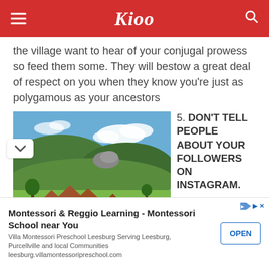Kioo
the village want to hear of your conjugal prowess so feed them some. They will bestow a great deal of respect on you when they know you're just as polygamous as your ancestors
5. DON'T TELL PEOPLE ABOUT YOUR FOLLOWERS ON INSTAGRAM.
[Figure (photo): Landscape photo showing African village with traditional thatched-roof huts, green hills and blue sky with clouds in background]
I know you've
Montessori & Reggio Learning - Montessori School near You
Villa Montessori Preschool Leesburg Serving Leesburg, Purcellville and local Communities
leesburg.villamontessoripreschool.com